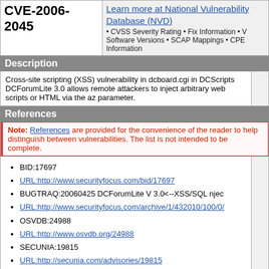CVE-2006-2045
Learn more at National Vulnerability Database (NVD)
• CVSS Severity Rating • Fix Information • V Software Versions • SCAP Mappings • CPE Information
Description
Cross-site scripting (XSS) vulnerability in dcboard.cgi in DCScripts DCForumLite 3.0 allows remote attackers to inject arbitrary web scripts or HTML via the az parameter.
References
Note: References are provided for the convenience of the reader to help distinguish between vulnerabilities. The list is not intended to be complete.
BID:17697
URL:http://www.securityfocus.com/bid/17697
BUGTRAQ:20060425 DCForumLite V 3.0<--XSS/SQL njec
URL:http://www.securityfocus.com/archive/1/432010/100/0/
OSVDB:24988
URL:http://www.osvdb.org/24988
SECUNIA:19815
URL:http://secunia.com/advisories/19815
SREASON:792
URL:http://securityreason.com/securityalert/792